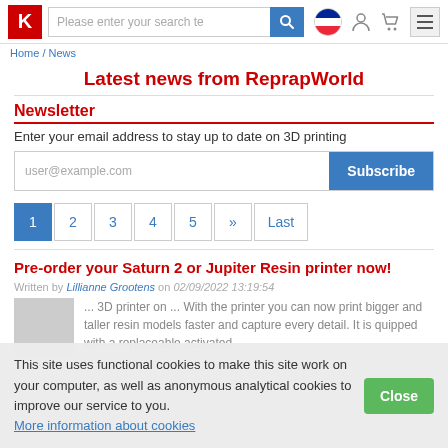Please enter your search term
Home / News
Latest news from ReprapWorld
Newsletter
Enter your email address to stay up to date on 3D printing
user@example.com  Subscribe
1  2  3  4  5  »  Last
Pre-order your Saturn 2 or Jupiter Resin printer now!
Written by Lillianne Grootens on 02/09/2022 13:19:54
This site uses functional cookies to make this site work on your computer, as well as anonymous analytical cookies to improve our service to you. More information about cookies
... 3D printer on ... With the printer you can now print bigger and taller resin models faster and capture every detail. It is quipped with a replaceable activated...